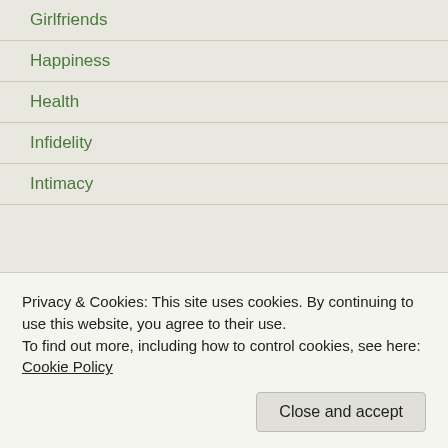Girlfriends
Happiness
Health
Infidelity
Intimacy
Love and Sex
Lust
Marriage
Men
Mistress
Privacy & Cookies: This site uses cookies. By continuing to use this website, you agree to their use.
To find out more, including how to control cookies, see here: Cookie Policy
Close and accept